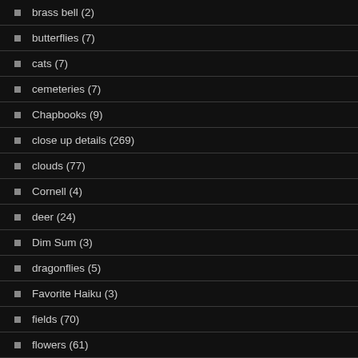brass bell (2)
butterflies (7)
cats (7)
cemeteries (7)
Chapbooks (9)
close up details (269)
clouds (77)
Cornell (4)
deer (24)
Dim Sum (3)
dragonflies (5)
Favorite Haiku (3)
fields (70)
flowers (61)
forests (5)